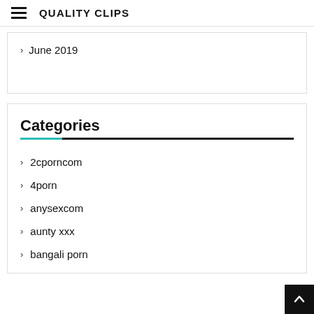QUALITY CLIPS
June 2019
Categories
2cporncom
4porn
anysexcom
aunty xxx
bangali porn